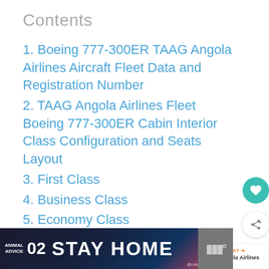Contents
1. Boeing 777-300ER TAAG Angola Airlines Aircraft Fleet Data and Registration Number
2. TAAG Angola Airlines Fleet Boeing 777-300ER Cabin Interior Class Configuration and Seats Layout
3. First Class
4. Business Class
5. Economy Class
[Figure (screenshot): STAY HOME advertisement banner with animal advice 02 branding and colorful illustration]
[Figure (other): What's next card showing TAAG Angola Airlines Fleet thumbnail with orange arrow]